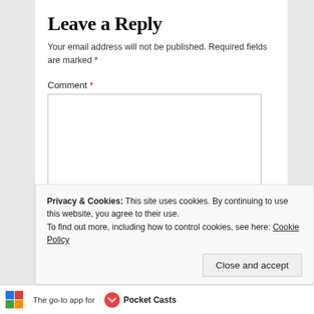Leave a Reply
Your email address will not be published. Required fields are marked *
Comment *
Name
Privacy & Cookies: This site uses cookies. By continuing to use this website, you agree to their use.
To find out more, including how to control cookies, see here: Cookie Policy
Close and accept
The go-to app for
Pocket Casts